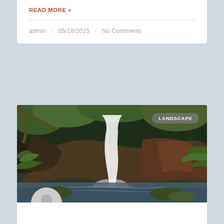READ MORE »
admin · 05/18/2015 · No Comments
[Figure (photo): A waterfall cascading over mossy rocks in a lush green forest with ferns, with a 'LANDSCAPE' badge overlay in the top right corner.]
Carolina Falls
This is an example post excerpt. An excerpt can be